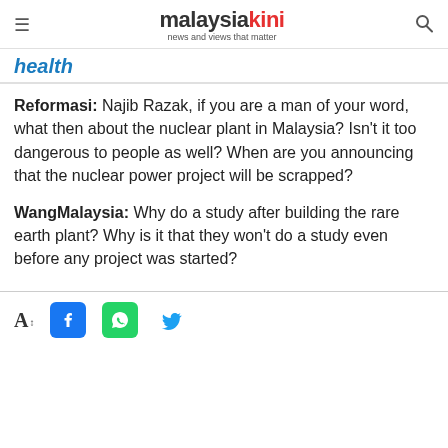malaysiakini — news and views that matter
health
Reformasi: Najib Razak, if you are a man of your word, what then about the nuclear plant in Malaysia? Isn't it too dangerous to people as well? When are you announcing that the nuclear power project will be scrapped?
WangMalaysia: Why do a study after building the rare earth plant? Why is it that they won't do a study even before any project was started?
Font size, Facebook, WhatsApp, Twitter share icons